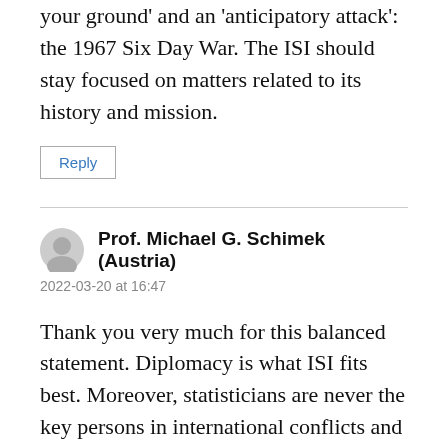your ground’ and an ‘anticipatory attack’: the 1967 Six Day War. The ISI should stay focused on matters related to its history and mission.
Reply
Prof. Michael G. Schimek (Austria)
2022-03-20 at 16:47
Thank you very much for this balanced statement. Diplomacy is what ISI fits best. Moreover, statisticians are never the key persons in international conflicts and should not be made responsible or blamed for inacceptable government decisions and